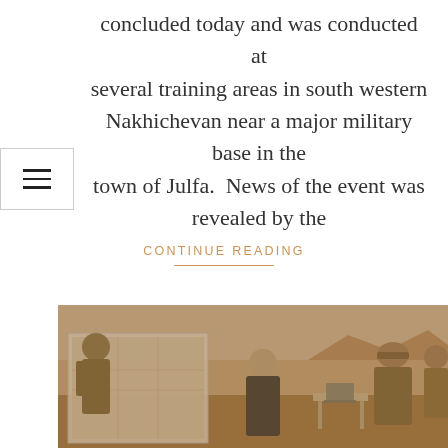concluded today and was conducted at several training areas in south western Nakhichevan near a major military base in the town of Julfa.  News of the event was revealed by the
CONTINUE READING
[Figure (photo): Military personnel and a civilian standing outdoors near a map display board and a table with equipment, with mountainous terrain in the background. The image has a brownish/sepia tint overlay.]